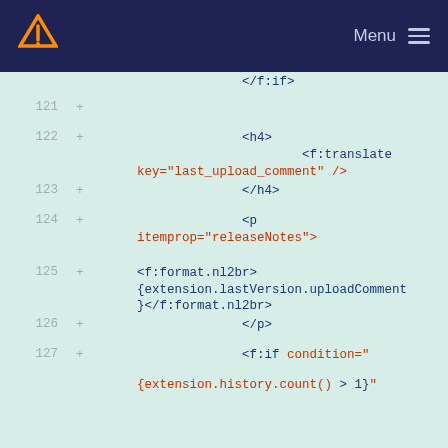[Figure (screenshot): Navigation bar with orange V logo on dark navy background, 'Menu' text and hamburger icon on right]
Code diff viewer showing lines 121-127 of an HTML/XML template file with syntax highlighting. Lines show closing fi tag, h4 tag with f:translate element, closing h4, p tag with itemprop=releaseNotes, f:format.nl2br with extension.lastVersion.uploadComment, closing p, and opening f:if condition.